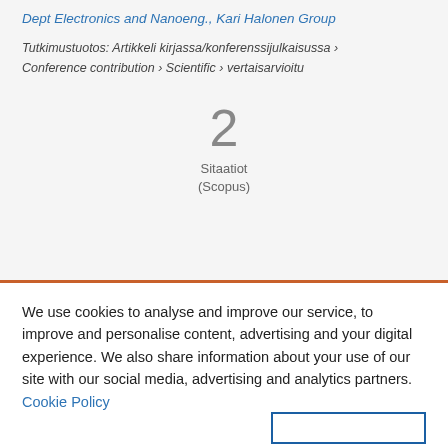Dept Electronics and Nanoeng., Kari Halonen Group
Tutkimustuotos: Artikkeli kirjassa/konferenssijulkaisussa › Conference contribution › Scientific › vertaisarvioitu
2
Sitaatiot
(Scopus)
We use cookies to analyse and improve our service, to improve and personalise content, advertising and your digital experience. We also share information about your use of our site with our social media, advertising and analytics partners.  Cookie Policy